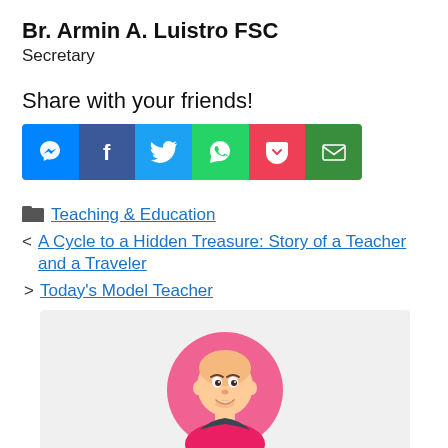Br. Armin A. Luistro FSC
Secretary
Share with your friends!
[Figure (infographic): Six social media share buttons in a row: Messenger (blue), Facebook (dark blue), Twitter (light blue), WhatsApp (green), Pocket (red/pink), Email (dark green)]
Teaching & Education
< A Cycle to a Hidden Treasure: Story of a Teacher and a Traveler
> Today's Model Teacher
[Figure (illustration): Cartoon illustration of a bald person with a warm smile, wearing a dark shirt, shown from the shoulders up against a pink circular background on a light grey rectangular background]